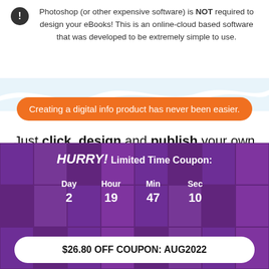Photoshop (or other expensive software) is NOT required to design your eBooks! This is an online-cloud based software that was developed to be extremely simple to use.
Creating a digital info product has never been easier.
Just click, design and publish your own ebooks, reports and whitepapers in minutes!
[Figure (infographic): Purple background with a grid of human face photos, HURRY! Limited Time Coupon countdown timer showing Day 2, Hour 19, Min 47, Sec 10, and a white coupon button reading $26.80 OFF COUPON: AUG2022]